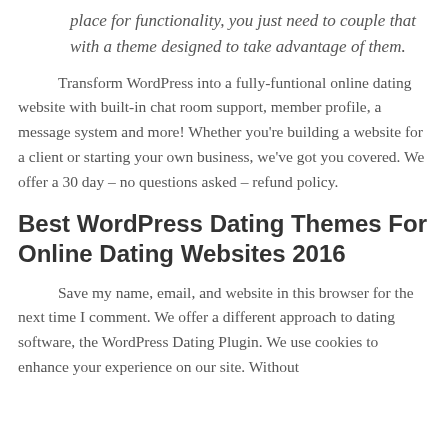place for functionality, you just need to couple that with a theme designed to take advantage of them.
Transform WordPress into a fully-funtional online dating website with built-in chat room support, member profile, a message system and more! Whether you're building a website for a client or starting your own business, we've got you covered. We offer a 30 day – no questions asked – refund policy.
Best WordPress Dating Themes For Online Dating Websites 2016
Save my name, email, and website in this browser for the next time I comment. We offer a different approach to dating software, the WordPress Dating Plugin. We use cookies to enhance your experience on our site. Without